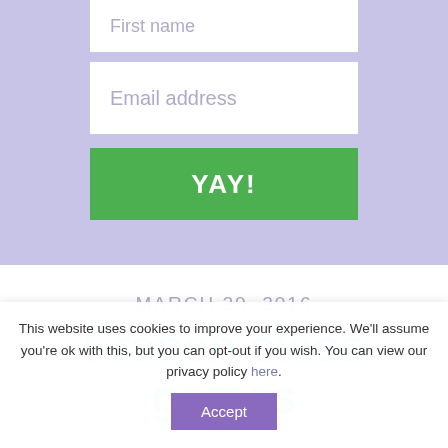[Figure (screenshot): Email signup form with 'First name' and 'Email address' input fields on a lavender/purple background, with a green 'YAY!' submit button]
MARCH 20, 2016
French class games
This website uses cookies to improve your experience. We'll assume you're ok with this, but you can opt-out if you wish. You can view our privacy policy here.